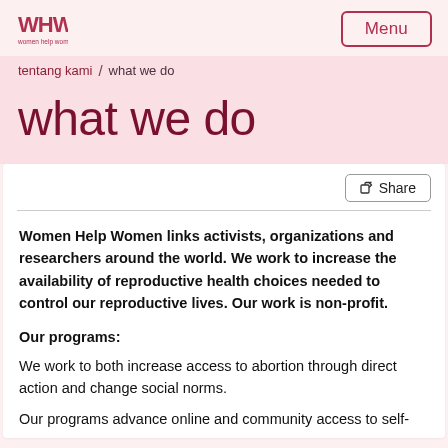WHW logo | Menu
tentang kami / what we do
what we do
Share
Women Help Women links activists, organizations and researchers around the world. We work to increase the availability of reproductive health choices needed to control our reproductive lives. Our work is non-profit.
Our programs:
We work to both increase access to abortion through direct action and change social norms.
Our programs advance online and community access to self-